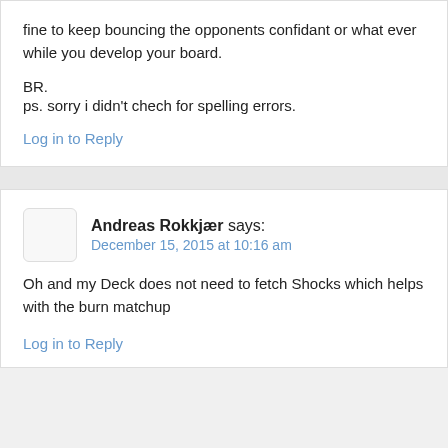fine to keep bouncing the opponents confidant or what ever while you develop your board.
BR.
ps. sorry i didn't chech for spelling errors.
Log in to Reply
Andreas Rokkjær says:
December 15, 2015 at 10:16 am
Oh and my Deck does not need to fetch Shocks which helps with the burn matchup
Log in to Reply